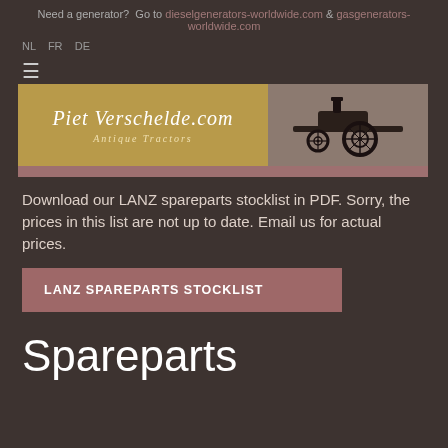Need a generator? Go to dieselgenerators-worldwide.com & gasgenerators-worldwide.com
NL  FR  DE
[Figure (other): Hamburger menu icon (three horizontal lines)]
[Figure (illustration): Banner for PietVerschelde.com Antique Tractors — gold/khaki left panel with cursive script logo and antique tractor image on right]
Download our LANZ spareparts stocklist in PDF. Sorry, the prices in this list are not up to date. Email us for actual prices.
LANZ SPAREPARTS STOCKLIST
Spareparts